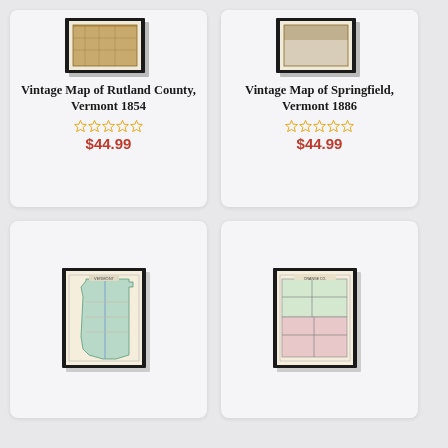[Figure (other): Framed vintage map thumbnail for Rutland County, Vermont 1854]
Vintage Map of Rutland County, Vermont 1854
★★★★★ (empty stars rating)
$44.99
[Figure (other): Framed vintage map thumbnail for Springfield, Vermont 1886]
Vintage Map of Springfield, Vermont 1886
★★★★★ (empty stars rating)
$44.99
[Figure (map): Framed vintage map of Vermont state with teal/blue coloring]
[Figure (map): Framed vintage county map with pink and green regions]